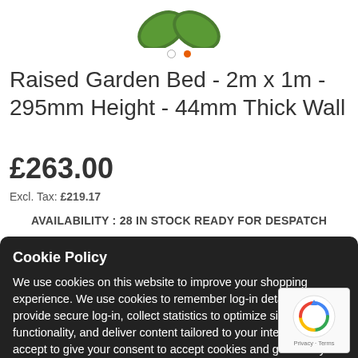[Figure (photo): Partial view of a green raised garden bed product image at top of page]
Raised Garden Bed - 2m x 1m - 295mm Height - 44mm Thick Wall
£263.00
Excl. Tax: £219.17
AVAILABILITY : 28 IN STOCK READY FOR DESPATCH
Cookie Policy
We use cookies on this website to improve your shopping experience. We use cookies to remember log-in details and provide secure log-in, collect statistics to optimize site functionality, and deliver content tailored to your interests. Click accept to give your consent to accept cookies and go directly to the site
I accept   Read more